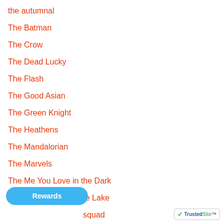the autumnal
The Batman
The Crow
The Dead Lucky
The Flash
The Good Asian
The Green Knight
The Heathens
The Mandalorian
The Marvels
The Me You Love in the Dark
The Nice House on the Lake
the nice house squad
[Figure (other): Rewards button (blue rounded pill button)]
[Figure (logo): TrustedSite badge]